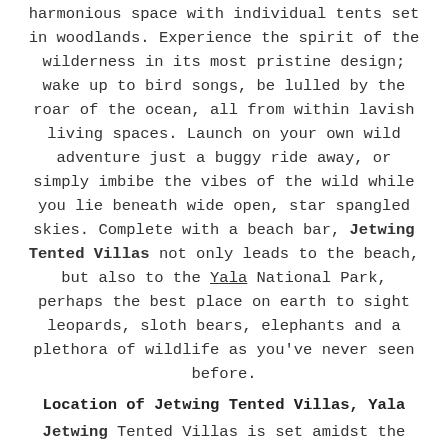harmonious space with individual tents set in woodlands. Experience the spirit of the wilderness in its most pristine design; wake up to bird songs, be lulled by the roar of the ocean, all from within lavish living spaces. Launch on your own wild adventure just a buggy ride away, or simply imbibe the vibes of the wild while you lie beneath wide open, star spangled skies. Complete with a beach bar, Jetwing Tented Villas not only leads to the beach, but also to the Yala National Park, perhaps the best place on earth to sight leopards, sloth bears, elephants and a plethora of wildlife as you've never seen before.
Location of Jetwing Tented Villas, Yala
Jetwing Tented Villas is set amidst the immediate outskirts of the Yala National Park. Kataragama is 21 km from the property. Jetwing Tented Villas is approximately 240 km from